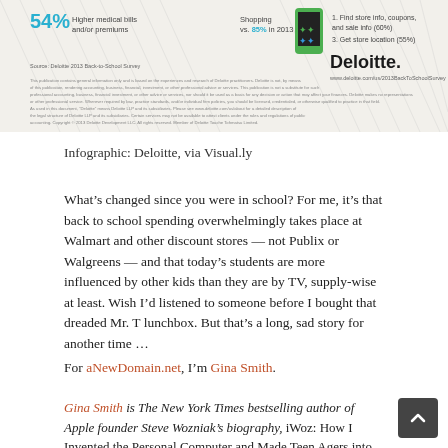[Figure (infographic): Deloitte Back to School Survey infographic strip showing statistics including 54% higher medical bills and/or premiums, shopping data (vs. 85% in 2013), smartphone image, store location info, and Deloitte logo with website www.deloitte.com/us/2013BackToSchoolSurvey]
Infographic: Deloitte, via Visual.ly
What’s changed since you were in school? For me, it’s that back to school spending overwhelmingly takes place at Walmart and other discount stores — not Publix or Walgreens — and that today’s students are more influenced by other kids than they are by TV, supply-wise at least. Wish I’d listened to someone before I bought that dreaded Mr. T lunchbox. But that’s a long, sad story for another time …
For aNewDomain.net, I’m Gina Smith.
Gina Smith is The New York Times bestselling author of Apple founder Steve Wozniak’s biography, iWoz: How I Invented the Personal Computer and Made Teen Agers into Millionaires